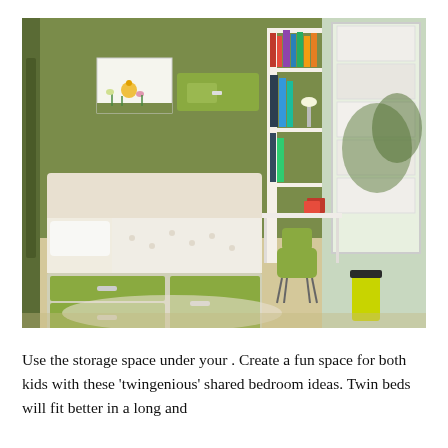[Figure (photo): Interior photo of a small kids' bedroom with olive/sage green walls, a platform bed with built-in green storage drawers below, white bookshelf unit with books, a small white desk with a green chair, white Roman-shade window blinds, and a yellow trash can near the window.]
Use the storage space under your . Create a fun space for both kids with these 'twingenious' shared bedroom ideas. Twin beds will fit better in a long and